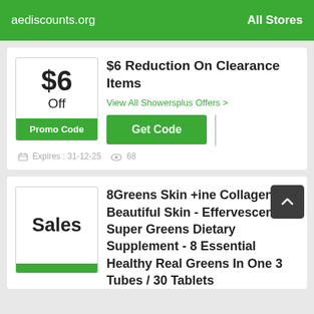aediscounts.org   All Stores
$6 Reduction On Clearance Items
View All Showersplus Offers >
Get Code
Expires : 31-12-25   68
8Greens Skin +ine Collagen For Beautiful Skin - Effervescent Super Greens Dietary Supplement - 8 Essential Healthy Real Greens In One 3 Tubes / 30 Tablets